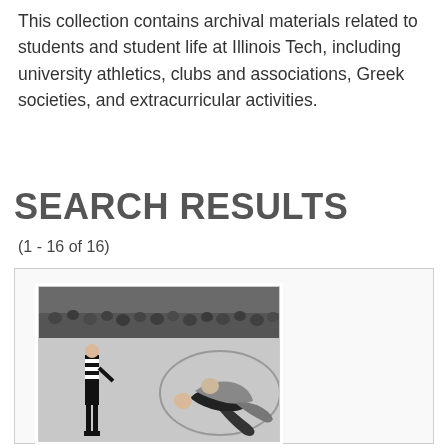This collection contains archival materials related to students and student life at Illinois Tech, including university athletics, clubs and associations, Greek societies, and extracurricular activities.
SEARCH RESULTS
(1 - 16 of 16)
[Figure (photo): Black and white photograph of a wrestling match. A referee in a striped shirt stands to the left observing two wrestlers grappling on the mat inside a circle. Spectators are visible in the background stands.]